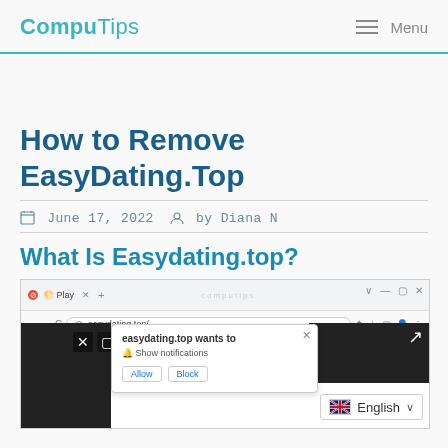CompuTips   Menu
How to Remove EasyDating.Top
June 17, 2022   by Diana N
What Is Easydating.top?
[Figure (screenshot): Browser screenshot showing easydating.top in Chrome with a notification popup asking 'easydating.top wants to Show notifications' with Allow and Block buttons, and an English language selector overlay]